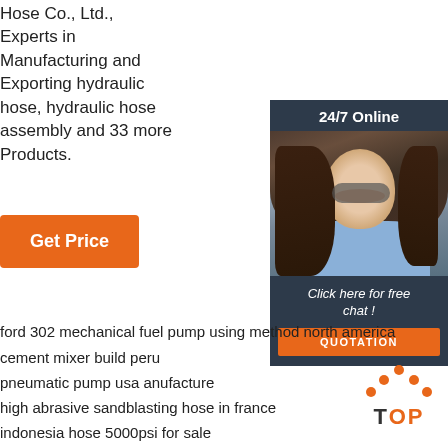Hose Co., Ltd., Experts in Manufacturing and Exporting hydraulic hose, hydraulic hose assembly and 33 more Products.
[Figure (other): Orange 'Get Price' button]
[Figure (other): 24/7 online chat widget with a woman wearing a headset, dark blue background, 'Click here for free chat!' text, and orange QUOTATION button]
ford 302 mechanical fuel pump using method north america
cement mixer build peru
pneumatic pump usa anufacture
high abrasive sandblasting hose in france
indonesia hose 5000psi for sale
mighty machines coal mine in philippines
[Figure (other): Orange TOP button with dots above]